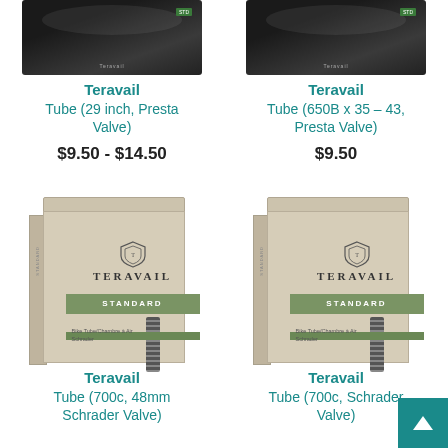[Figure (photo): Teravail tube product in dark packaging, top of image (29 inch, Presta Valve)]
Teravail
Tube (29 inch, Presta Valve)
$9.50 - $14.50
[Figure (photo): Teravail tube product in dark packaging, top of image (650B x 35-43, Presta Valve)]
Teravail
Tube (650B x 35 – 43, Presta Valve)
$9.50
[Figure (photo): Teravail Standard bike tube box product image (700c, 48mm Schrader Valve)]
Teravail
Tube (700c, 48mm Schrader Valve)
[Figure (photo): Teravail Standard bike tube box product image (700c, Schrader Valve)]
Teravail
Tube (700c, Schrader Valve)